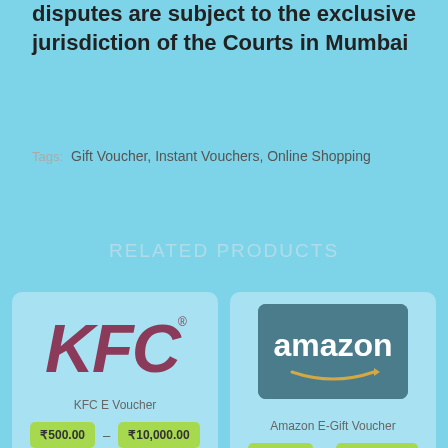disputes are subject to the exclusive jurisdiction of the Courts in Mumbai
Tags: Gift Voucher, Instant Vouchers, Online Shopping
RELATED PRODUCTS
[Figure (logo): KFC logo in dark red/maroon color]
KFC E Voucher
₹500.00 - ₹10,000.00
[Figure (logo): Amazon logo on dark teal card background]
Amazon E-Gift Voucher
₹500.00 - ₹10,000.00